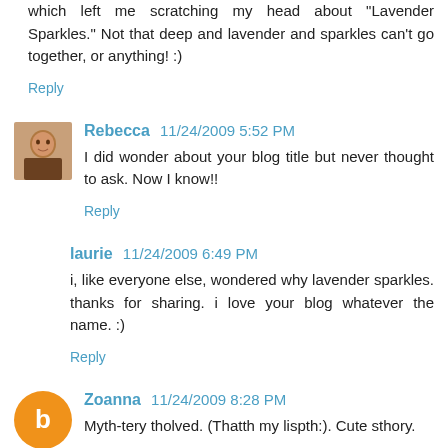which left me scratching my head about "Lavender Sparkles." Not that deep and lavender and sparkles can't go together, or anything! :)
Reply
Rebecca 11/24/2009 5:52 PM
I did wonder about your blog title but never thought to ask. Now I know!!
Reply
laurie 11/24/2009 6:49 PM
i, like everyone else, wondered why lavender sparkles. thanks for sharing. i love your blog whatever the name. :)
Reply
Zoanna 11/24/2009 8:28 PM
Myth-tery tholved. (Thatth my lispth:). Cute sthory.